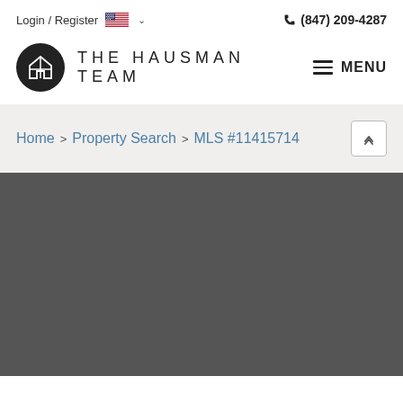Login / Register  (847) 209-4287
[Figure (logo): The Hausman Team logo — black circle with house/H icon, text THE HAUSMAN TEAM, and MENU hamburger button]
Home > Property Search > MLS #11415714